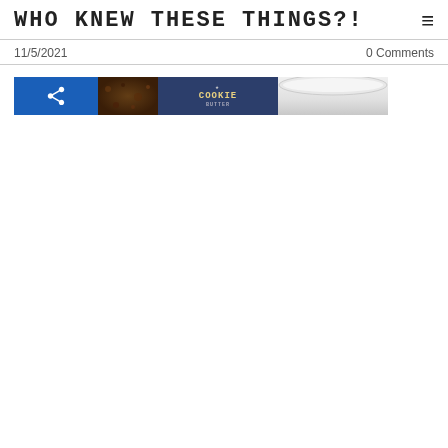WHO KNEW THESE THINGS?!
11/5/2021
0 Comments
[Figure (photo): A horizontal strip of three photos: a blue background with a share/recycle icon, dark brown coffee grounds or chocolate, a cookie package in navy blue with text 'COOKIE', and a white ceramic bowl or plate.]